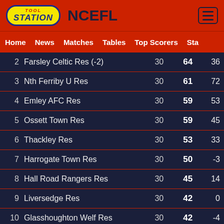TOOLSTATION NCEFL
Home  News  Matches  Tables  Top Scorers  Sta
| Pos | Team |  | Played | Pts | GD |
| --- | --- | --- | --- | --- | --- |
| 2 | Farsley Celtic Res (-2) |  | 30 | 64 | 36 |
| 3 | Nth Ferriby U Res |  | 30 | 61 | 72 |
| 4 | Emley AFC Res |  | 30 | 59 | 53 |
| 5 | Ossett Town Res |  | 30 | 59 | 45 |
| 6 | Thackley Res |  | 30 | 53 | 33 |
| 7 | Harrogate Town Res |  | 30 | 50 | -3 |
| 8 | Hall Road Rangers Res |  | 30 | 45 | 14 |
| 9 | Liversedge Res |  | 30 | 42 | 0 |
| 10 | Glasshoughton Welf Res |  | 30 | 42 | -4 |
| 11 | Garforth Town Res |  | 30 | 40 | -5 |